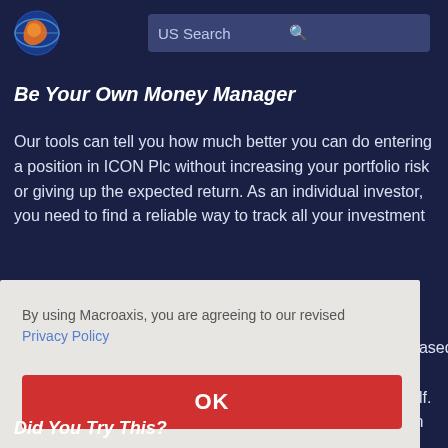[Figure (logo): Macroaxis globe logo with orange and blue colors]
US Search
Be Your Own Money Manager
Our tools can tell you how much better you can do entering a position in ICON Plc without increasing your portfolio risk or giving up the expected return. As an individual investor, you need to find a reliable way to track all your investment
By using Macroaxis, you are agreeing to our revised Privacy Policy
OK
Did You Try This?